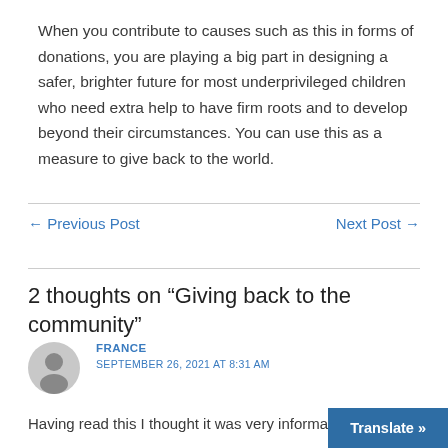When you contribute to causes such as this in forms of donations, you are playing a big part in designing a safer, brighter future for most underprivileged children who need extra help to have firm roots and to develop beyond their circumstances. You can use this as a measure to give back to the world.
← Previous Post
Next Post →
2 thoughts on “Giving back to the community”
FRANCE
SEPTEMBER 26, 2021 AT 8:31 AM
Having read this I thought it was very informat